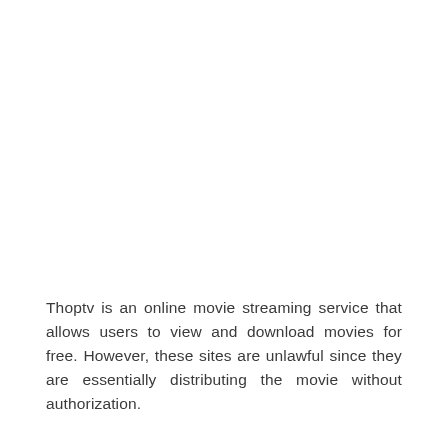Thoptv is an online movie streaming service that allows users to view and download movies for free. However, these sites are unlawful since they are essentially distributing the movie without authorization.